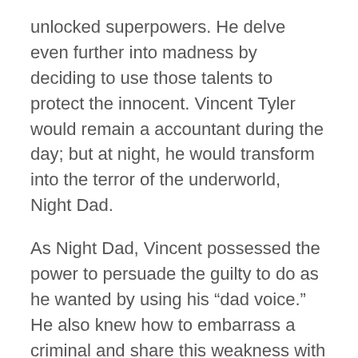unlocked superpowers. He delve even further into madness by deciding to use those talents to protect the innocent. Vincent Tyler would remain a accountant during the day; but at night, he would transform into the terror of the underworld, Night Dad.
As Night Dad, Vincent possessed the power to persuade the guilty to do as he wanted by using his “dad voice.” He also knew how to embarrass a criminal and share this weakness with all present. His last talent is the ability to inflict pain through his cringey “dad jokes.”